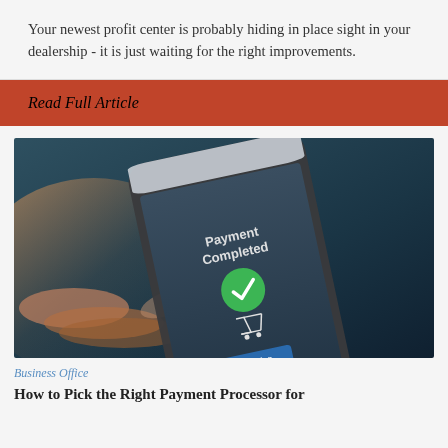Your newest profit center is probably hiding in place sight in your dealership - it is just waiting for the right improvements.
Read Full Article
[Figure (photo): Person holding a smartphone displaying 'Payment Completed' screen with a green checkmark and shopping cart icon, with an 'Invoice' button visible at the bottom of the screen.]
Business Office
How to Pick the Right Payment Processor for